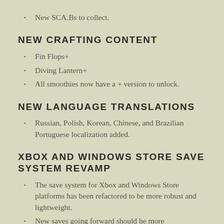New SCA.Bs to collect.
NEW CRAFTING CONTENT
Fin Flops+
Diving Lantern+
All smoothies now have a + version to unlock.
NEW LANGUAGE TRANSLATIONS
Russian, Polish, Korean, Chinese, and Brazilian Portuguese localization added.
XBOX AND WINDOWS STORE SAVE SYSTEM REVAMP
The save system for Xbox and Windows Store platforms has been refactored to be more robust and lightweight.
New saves going forward should be more